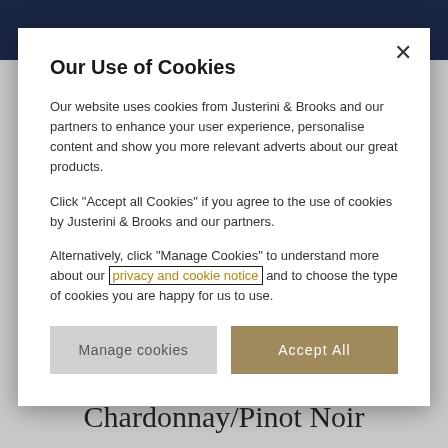Our Use of Cookies
Our website uses cookies from Justerini & Brooks and our partners to enhance your user experience, personalise content and show you more relevant adverts about our great products.
Click "Accept all Cookies" if you agree to the use of cookies by Justerini & Brooks and our partners.
Alternatively, click "Manage Cookies" to understand more about our privacy and cookie notice and to choose the type of cookies you are happy for us to use.
Manage cookies
Accept All
Chardonnay/Pinot Noir